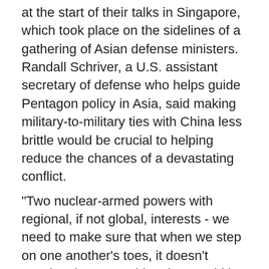at the start of their talks in Singapore, which took place on the sidelines of a gathering of Asian defense ministers. Randall Schriver, a U.S. assistant secretary of defense who helps guide Pentagon policy in Asia, said making military-to-military ties with China less brittle would be crucial to helping reduce the chances of a devastating conflict.
"Two nuclear-armed powers with regional, if not global, interests - we need to make sure that when we step on one another's toes, it doesn't escalate into something that would be catastrophic," Schriver told reporters traveling with Mattis.
Schriver said he believed that sentiment was shared by China's military, noting that it recently requested Thursday's talks in Singapore after Beijing decided against a planned Mattis-Wei meeting in China.